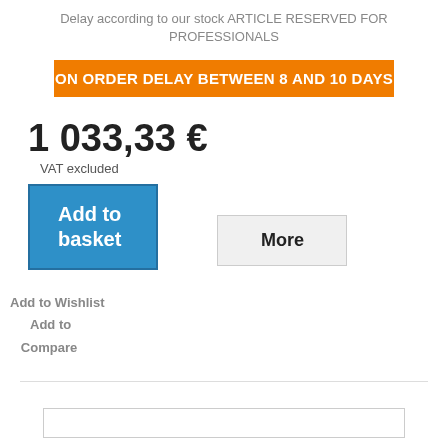Delay according to our stock ARTICLE RESERVED FOR PROFESSIONALS
ON ORDER DELAY BETWEEN 8 AND 10 DAYS
1 033,33 €
VAT excluded
Add to basket
More
Add to Wishlist
Add to Compare